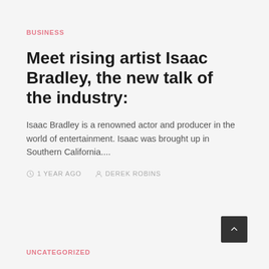BUSINESS
Meet rising artist Isaac Bradley, the new talk of the industry:
Isaac Bradley is a renowned actor and producer in the world of entertainment. Isaac was brought up in Southern California....
1 YEAR AGO   DEREK ROBINS
UNCATEGORIZED